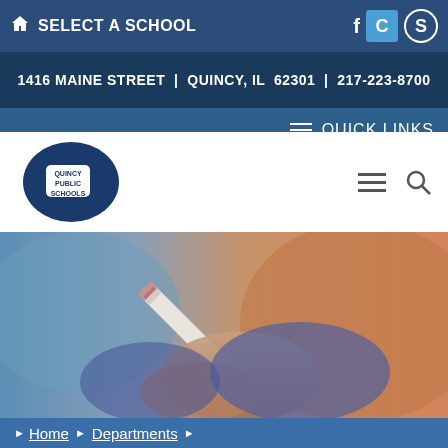SELECT A SCHOOL | 1416 MAINE STREET | QUINCY, IL 62301 | 217-223-8700
[Figure (logo): Quincy Public Schools logo — blue speech bubble Q with white text]
[Figure (photo): Close-up photo of a hand holding a white pencil/pen, writing]
Home > Departments >